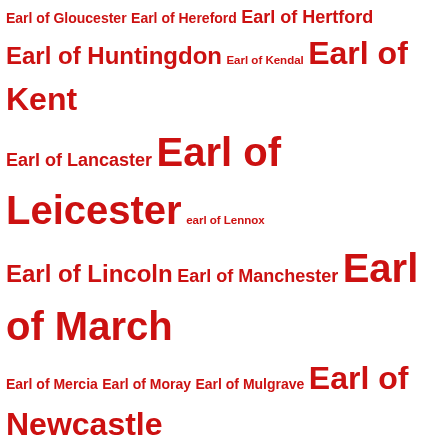[Figure (infographic): Tag cloud of English earldom titles in red, with font size varying by frequency/importance. Titles include Earl of Gloucester, Hereford, Hertford, Huntingdon, Kendal, Kent, Lancaster, Leicester, Lennox, Lincoln, Manchester, March, Mercia, Moray, Mulgrave, Newcastle, Norfolk, Northampton, Northumberland, Northumbria, Norwich, Ormond, Ormonde, Oxford, Pembroke, Richmond, Roseberry, Rutland, Salisbury, Scarsdale, Shreswbury, Shrewsbury, Somerset, Southampton, Stafford, Stamford, Strafford, Suffolk, Surrey, Sussex, Warwick, Westmoreland, Westmorland, Wiltshire, Worcester, Ogle, Rivers.]